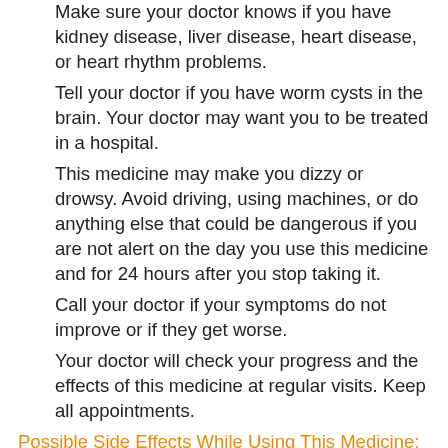Make sure your doctor knows if you have kidney disease, liver disease, heart disease, or heart rhythm problems.
Tell your doctor if you have worm cysts in the brain. Your doctor may want you to be treated in a hospital.
This medicine may make you dizzy or drowsy. Avoid driving, using machines, or do anything else that could be dangerous if you are not alert on the day you use this medicine and for 24 hours after you stop taking it.
Call your doctor if your symptoms do not improve or if they get worse.
Your doctor will check your progress and the effects of this medicine at regular visits. Keep all appointments.
Possible Side Effects While Using This Medicine:
Call your doctor right away if you notice any of these side effects:
Allergic reaction: Itching or hives, swelling in your face